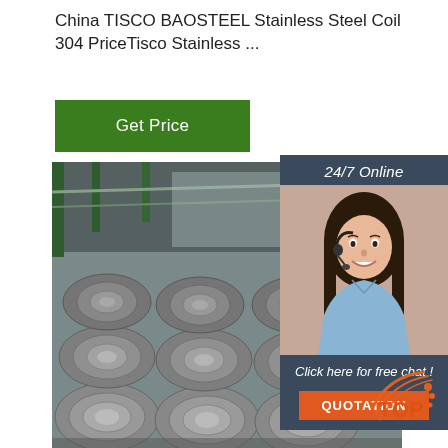China TISCO BAOSTEEL Stainless Steel Coil 304 PriceTisco Stainless ...
[Figure (other): Green 'Get Price' button]
[Figure (photo): Large rolls of stainless steel wire coil stacked in an industrial warehouse]
[Figure (other): 24/7 Online chat widget with female customer service representative photo, 'Click here for free chat!' text, and orange QUOTATION button]
[Figure (logo): TOP logo badge in orange and red at bottom right]